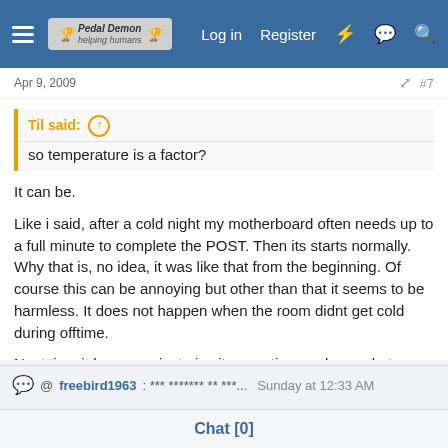Navigation bar with hamburger menu, logo, Log in, Register, and icons
Apr 9, 2009 #7
Til said: ↑
so temperature is a factor?
It can be.
Like i said, after a cold night my motherboard often needs up to a full minute to complete the POST. Then its starts normally. Why that is, no idea, it was like that from the beginning. Of course this can be annoying but other than that it seems to be harmless. It does not happen when the room didnt get cold during offtime.
Next time it happens, just give it some time and see what happens. Maybe its the same thing in your case,...
@ freebird1963: *** ******* ** ***... Sunday at 12:33 AM
Chat [0]